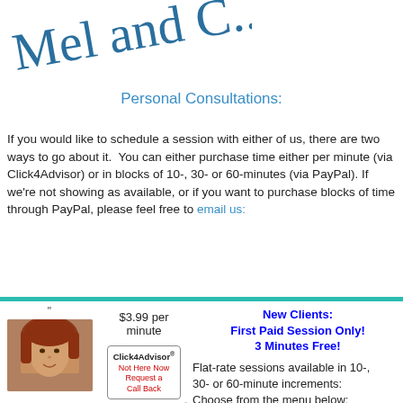[Figure (illustration): Cursive handwritten signature reading 'Mel and ...' in dark teal/blue ink]
Personal Consultations:
If you would like to schedule a session with either of us, there are two ways to go about it.  You can either purchase time either per minute (via Click4Advisor) or in blocks of 10-, 30- or 60-minutes (via PayPal). If we're not showing as available, or if you want to purchase blocks of time through PayPal, please feel free to email us:
[Figure (infographic): Bottom panel with teal top border containing: photo of a woman with red/brown hair, rate of $3.99 per minute, Click4Advisor button (Not Here Now, Request a Call Back), and text about new clients getting first paid session with 3 minutes free, plus flat-rate sessions in 10-, 30- or 60-minute increments.]